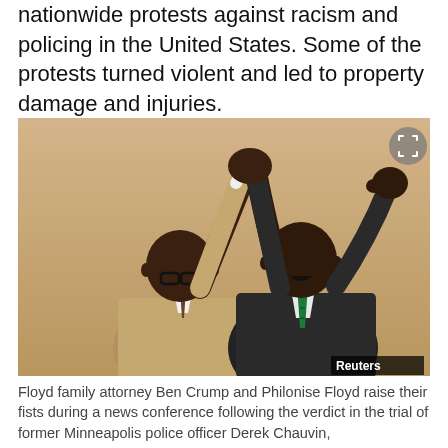nationwide protests against racism and policing in the United States. Some of the protests turned violent and led to property damage and injuries.
[Figure (photo): Floyd family attorney Ben Crump and Philonise Floyd raising their fists at a news conference following the Derek Chauvin verdict. Reuters watermark visible.]
Floyd family attorney Ben Crump and Philonise Floyd raise their fists during a news conference following the verdict in the trial of former Minneapolis police officer Derek Chauvin,